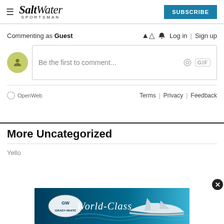Salt Water Sportsman | SUBSCRIBE
Commenting as Guest
Log in | Sign up
Be the first to comment...
OpenWeb  Terms | Privacy | Feedback
More Uncategorized
Yello
[Figure (screenshot): Grady-White boat advertisement banner with text 'World-Class' and Grady-White logo, showing a white fishing boat on blue water]